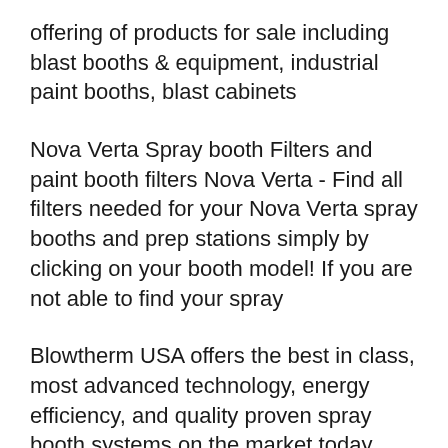offering of products for sale including blast booths & equipment, industrial paint booths, blast cabinets
Nova Verta Spray booth Filters and paint booth filters Nova Verta - Find all filters needed for your Nova Verta spray booths and prep stations simply by clicking on your booth model! If you are not able to find your spray
Blowtherm USA offers the best in class, most advanced technology, energy efficiency, and quality proven spray booth systems on the market today. Relying on a NOVA VERTA Spray Booth means being and post sales service and support from Paint Distributors, who